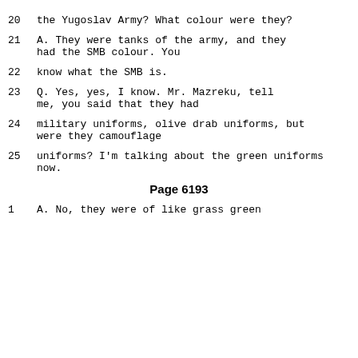20    the Yugoslav Army?  What colour were they?
21        A.    They were tanks of the army, and they had the SMB colour.  You
22        know what the SMB is.
23        Q.    Yes, yes, I know.  Mr. Mazreku, tell me, you said that they had
24        military uniforms, olive drab uniforms, but were they camouflage
25        uniforms?  I'm talking about the green uniforms now.
Page 6193
1         A.    No, they were of like grass green